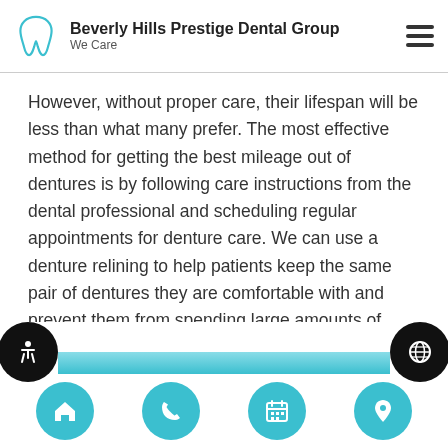Beverly Hills Prestige Dental Group — We Care
However, without proper care, their lifespan will be less than what many prefer. The most effective method for getting the best mileage out of dentures is by following care instructions from the dental professional and scheduling regular appointments for denture care. We can use a denture relining to help patients keep the same pair of dentures they are comfortable with and prevent them from spending large amounts of money on new pairs.
[Figure (infographic): Bottom navigation bar with accessibility icon (left black circle), teal horizontal bar, globe icon (right black circle), and four teal circular buttons: home, phone, calendar, location pin.]